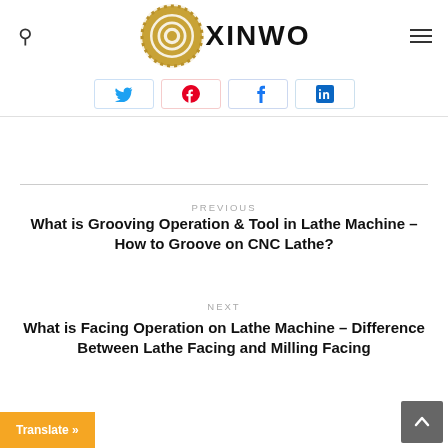XINWO
[Figure (logo): XINWO logo with spiral/swirl gold circle icon and bold black XINWO text]
[Figure (infographic): Social share buttons: Twitter, Pinterest, Facebook, LinkedIn]
PREVIOUS
What is Grooving Operation & Tool in Lathe Machine – How to Groove on CNC Lathe?
NEXT
What is Facing Operation on Lathe Machine – Difference Between Lathe Facing and Milling Facing
Translate »